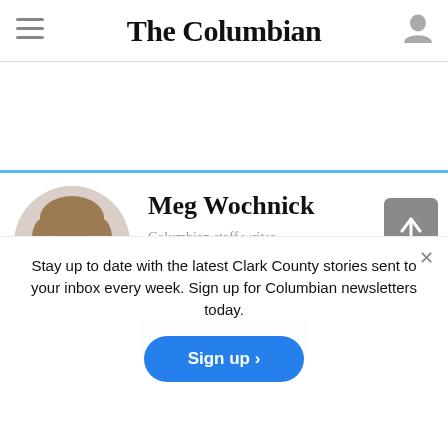The Columbian
[Figure (photo): Circular headshot photo of Meg Wochnick, a woman with short brown hair, smiling, wearing a light top and dark necklace]
Meg Wochnick
Columbian staff writer
@MegWochnick
(360) 735-4521
Stay up to date with the latest Clark County stories sent to your inbox every week. Sign up for Columbian newsletters today.